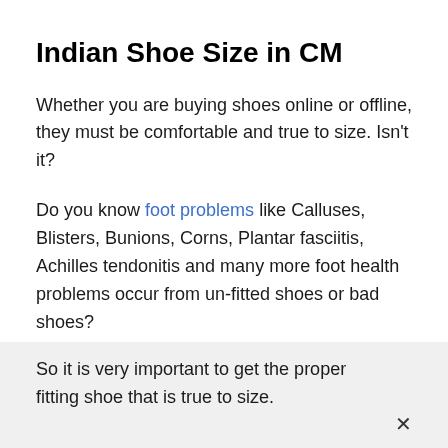Indian Shoe Size in CM
Whether you are buying shoes online or offline, they must be comfortable and true to size. Isn't it?
Do you know foot problems like Calluses, Blisters, Bunions, Corns, Plantar fasciitis, Achilles tendonitis and many more foot health problems occur from un-fitted shoes or bad shoes?
So it is very important to get the proper fitting shoe that is true to size.